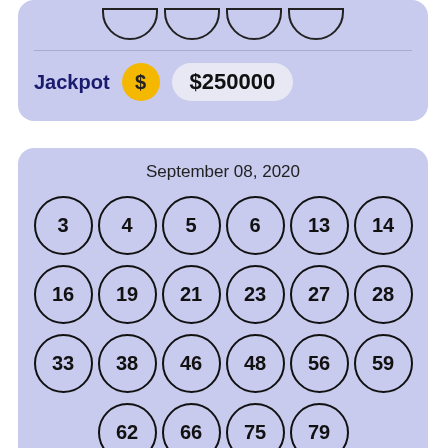[Figure (infographic): Top card showing partial lottery balls at top and Jackpot label with $250000 amount on purple background]
[Figure (infographic): Lottery draw card for September 08, 2020 showing numbers 3,4,5,6,13,14,16,19,21,23,27,28,33,38,46,48,56,59,62,66,75,79 in circles on purple background]